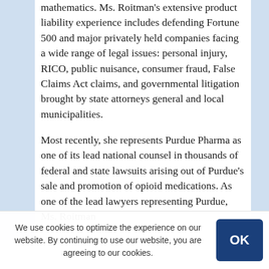mathematics. Ms. Roitman's extensive product liability experience includes defending Fortune 500 and major privately held companies facing a wide range of legal issues: personal injury, RICO, public nuisance, consumer fraud, False Claims Act claims, and governmental litigation brought by state attorneys general and local municipalities.
Most recently, she represents Purdue Pharma as one of its lead national counsel in thousands of federal and state lawsuits arising out of Purdue's sale and promotion of opioid medications. As one of the lead lawyers representing Purdue, Ms. Roitman
We use cookies to optimize the experience on our website. By continuing to use our website, you are agreeing to our use of cookies.